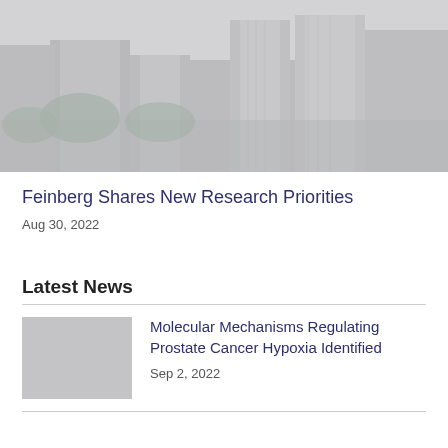[Figure (photo): Aerial/street-level photo of city buildings and skyscrapers, appearing grayish/hazy]
Feinberg Shares New Research Priorities
Aug 30, 2022
Latest News
[Figure (photo): Thumbnail image placeholder for news article]
Molecular Mechanisms Regulating Prostate Cancer Hypoxia Identified
Sep 2, 2022